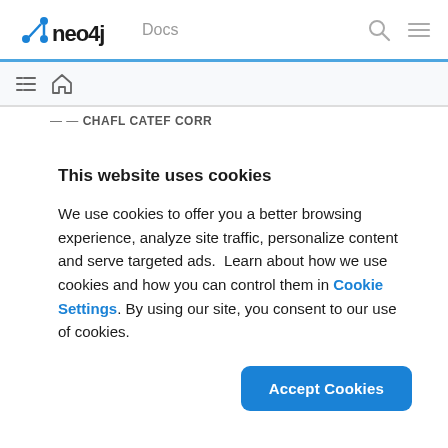neo4j Docs
This website uses cookies
We use cookies to offer you a better browsing experience, analyze site traffic, personalize content and serve targeted ads.  Learn about how we use cookies and how you can control them in Cookie Settings. By using our site, you consent to our use of cookies.
Accept Cookies